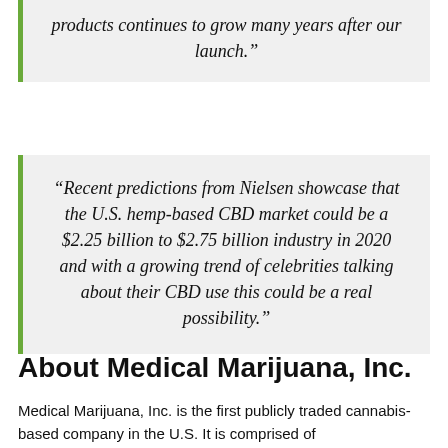“products continues to grow many years after our launch.”
“Recent predictions from Nielsen showcase that the U.S. hemp-based CBD market could be a $2.25 billion to $2.75 billion industry in 2020 and with a growing trend of celebrities talking about their CBD use this could be a real possibility.”
About Medical Marijuana, Inc.
Medical Marijuana, Inc. is the first publicly traded cannabis-based company in the U.S. It is comprised of